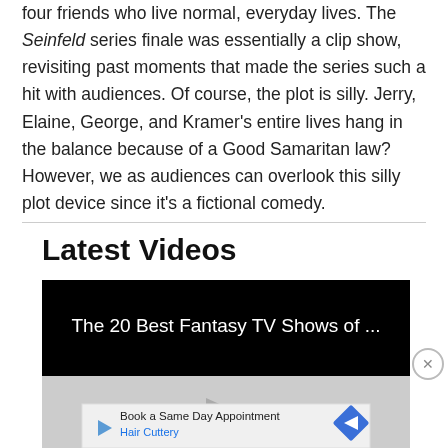four friends who live normal, everyday lives. The Seinfeld series finale was essentially a clip show, revisiting past moments that made the series such a hit with audiences. Of course, the plot is silly. Jerry, Elaine, George, and Kramer's entire lives hang in the balance because of a Good Samaritan law? However, we as audiences can overlook this silly plot device since it's a fictional comedy.
Latest Videos
[Figure (screenshot): Video player showing 'The 20 Best Fantasy TV Shows of ...' with a black header bar and gray controls area with a play button. Below is an advertisement banner for 'Book a Same Day Appointment - Hair Cuttery'.]